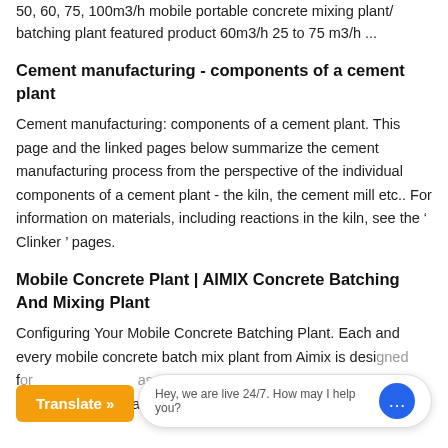50, 60, 75, 100m3/h mobile portable concrete mixing plant/ batching plant featured product 60m3/h 25 to 75 m3/h ...
Cement manufacturing - components of a cement plant
Cement manufacturing: components of a cement plant. This page and the linked pages below summarize the cement manufacturing process from the perspective of the individual components of a cement plant - the kiln, the cement mill etc.. For information on materials, including reactions in the kiln, see the ' Clinker ' pages.
Mobile Concrete Plant | AIMIX Concrete Batching And Mixing Plant
Configuring Your Mobile Concrete Batching Plant. Each and every mobile concrete batch mix plant from Aimix is designed for ... as ... is available with a range of configurations